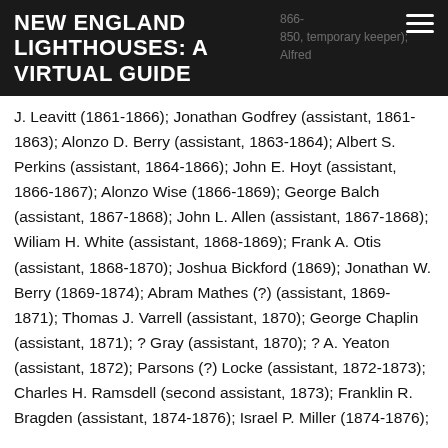NEW ENGLAND LIGHTHOUSES: A VIRTUAL GUIDE
J. Leavitt (1861-1866); Jonathan Godfrey (assistant, 1861-1863); Alonzo D. Berry (assistant, 1863-1864); Albert S. Perkins (assistant, 1864-1866); John E. Hoyt (assistant, 1866-1867); Alonzo Wise (1866-1869); George Balch (assistant, 1867-1868); John L. Allen (assistant, 1867-1868); Wiliam H. White (assistant, 1868-1869); Frank A. Otis (assistant, 1868-1870); Joshua Bickford (1869); Jonathan W. Berry (1869-1874); Abram Mathes (?) (assistant, 1869-1871); Thomas J. Varrell (assistant, 1870); George Chaplin (assistant, 1871); ? Gray (assistant, 1870); ? A. Yeaton (assistant, 1872); Parsons (?) Locke (assistant, 1872-1873); Charles H. Ramsdell (second assistant, 1873); Franklin R. Bragden (assistant, 1874-1876); Israel P. Miller (1874-1876);